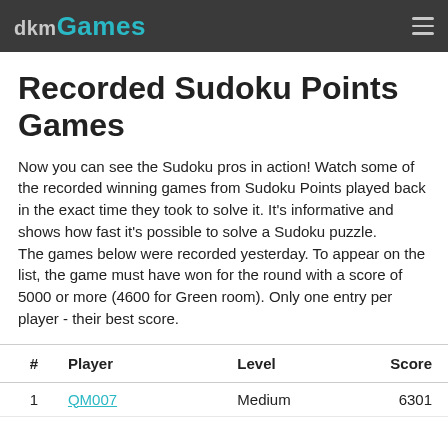dkmGames
Recorded Sudoku Points Games
Now you can see the Sudoku pros in action! Watch some of the recorded winning games from Sudoku Points played back in the exact time they took to solve it. It's informative and shows how fast it's possible to solve a Sudoku puzzle.
The games below were recorded yesterday. To appear on the list, the game must have won for the round with a score of 5000 or more (4600 for Green room). Only one entry per player - their best score.
| # | Player | Level | Score |
| --- | --- | --- | --- |
| 1 | QM007 | Medium | 6301 |